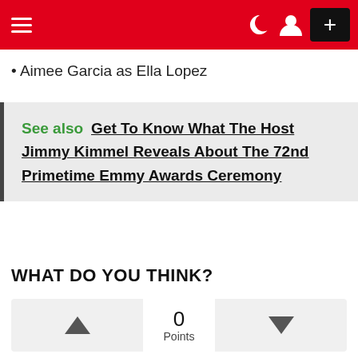≡  ☾ 👤  +
Aimee Garcia as Ella Lopez
See also  Get To Know What The Host Jimmy Kimmel Reveals About The 72nd Primetime Emmy Awards Ceremony
WHAT DO YOU THINK?
▲  0 Points  ▼